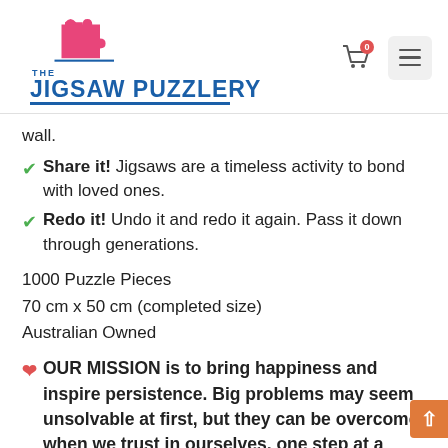[Figure (logo): The Jigsaw Puzzlery logo with pink puzzle piece icon and blue text]
wall.
✔ Share it! Jigsaws are a timeless activity to bond with loved ones.
✔ Redo it! Undo it and redo it again. Pass it down through generations.
1000 Puzzle Pieces
70 cm x 50 cm (completed size)
Australian Owned
❤ OUR MISSION is to bring happiness and inspire persistence. Big problems may seem unsolvable at first, but they can be overcome when we trust in ourselves, one step at a time.